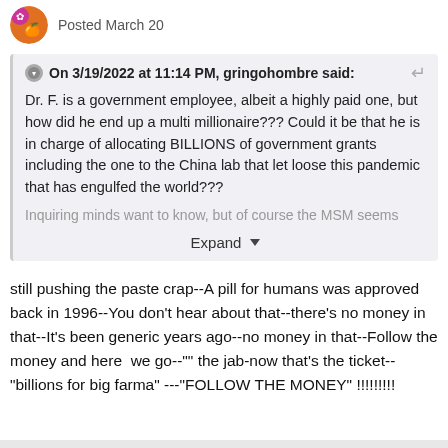Posted March 20
On 3/19/2022 at 11:14 PM, gringohombre said:

Dr. F. is a government employee, albeit a highly paid one, but how did he end up a multi millionaire??? Could it be that he is in charge of allocating BILLIONS of government grants including the one to the China lab that let loose this pandemic that has engulfed the world???

Inquiring minds want to know, but of course the MSM seems

Expand
still pushing the paste crap--A pill for humans was approved back in 1996--You don't hear about that--there's no money in that--It's been generic years ago--no money in that--Follow the money and here  we go--"" the jab-now that's the ticket--"billions for big farma" ---"FOLLOW THE MONEY" !!!!!!!!!